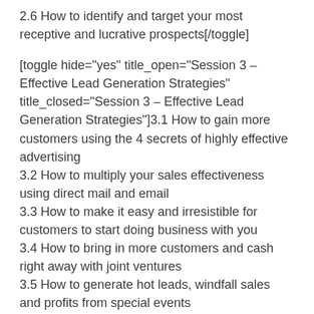2.6 How to identify and target your most receptive and lucrative prospects[/toggle]
[toggle hide="yes" title_open="Session 3 – Effective Lead Generation Strategies" title_closed="Session 3 – Effective Lead Generation Strategies"]3.1 How to gain more customers using the 4 secrets of highly effective advertising
3.2 How to multiply your sales effectiveness using direct mail and email
3.3 How to make it easy and irresistible for customers to start doing business with you
3.4 How to bring in more customers and cash right away with joint ventures
3.5 How to generate hot leads, windfall sales and profits from special events
3.6 How to gain distinction and credibility with free media coverage and publicity[/toggle]
[toggle hide="yes" title_open="Session 4 – Achieve Online Visibility and Engagement" title_closed="Session 4 – Achieve